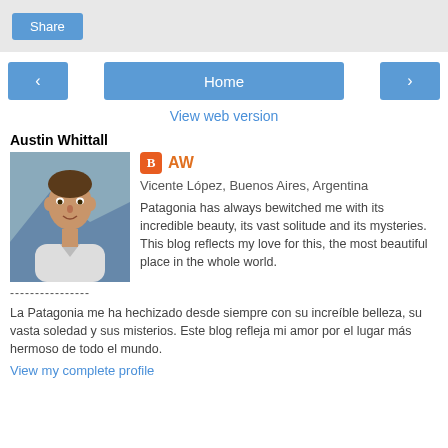Share
[Figure (screenshot): Navigation buttons: left arrow, Home, right arrow]
View web version
Austin Whittall
[Figure (photo): Profile photo of Austin Whittall, a man in a white shirt outdoors]
AW
Vicente López, Buenos Aires, Argentina
Patagonia has always bewitched me with its incredible beauty, its vast solitude and its mysteries. This blog reflects my love for this, the most beautiful place in the whole world.
----------------
La Patagonia me ha hechizado desde siempre con su increíble belleza, su vasta soledad y sus misterios. Este blog refleja mi amor por el lugar más hermoso de todo el mundo.
View my complete profile